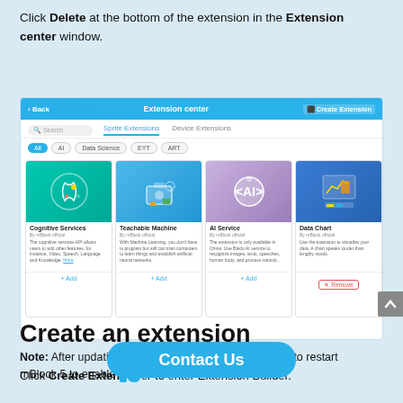Click Delete at the bottom of the extension in the Extension center window.
[Figure (screenshot): Screenshot of the Extension center window showing Sprite Extensions tab with four extension cards: Cognitive Services, Teachable Machine, AI Service, and Data Chart. The Data Chart card shows a red Remove button instead of Add.]
Note: After updating or adding an extension, you need to restart mBlock 5 to enable the extension to take effect.
Create an extension
Click Create Extension button to enter Extension Builder.